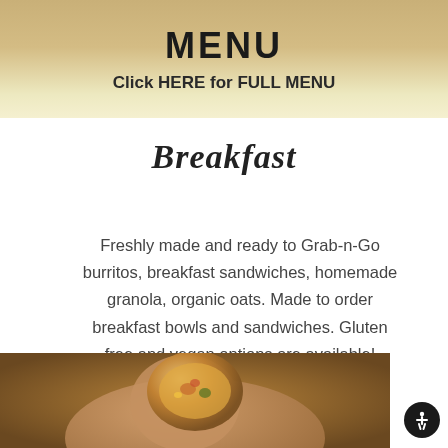MENU
Click HERE for FULL MENU
Breakfast
Freshly made and ready to Grab-n-Go burritos, breakfast sandwiches, homemade granola, organic oats.  Made to order breakfast bowls and sandwiches. Gluten free and vegan options are available!
[Figure (photo): Close-up photo of a hand holding a breakfast burrito cut in half, showing egg and filling inside, with a blurred background.]